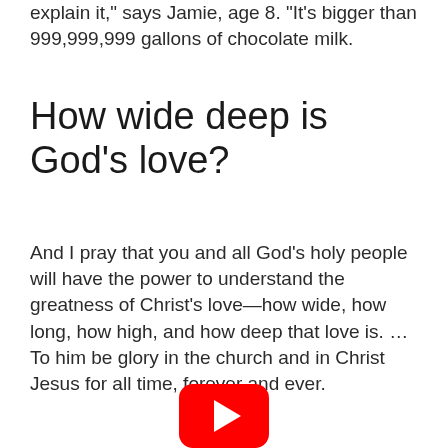explain it," says Jamie, age 8. "It's bigger than 999,999,999 gallons of chocolate milk.
How wide deep is God's love?
And I pray that you and all God's holy people will have the power to understand the greatness of Christ's love—how wide, how long, how high, and how deep that love is. … To him be glory in the church and in Christ Jesus for all time, forever and ever.
[Figure (logo): YouTube play button logo — red rounded rectangle with white triangle play icon]